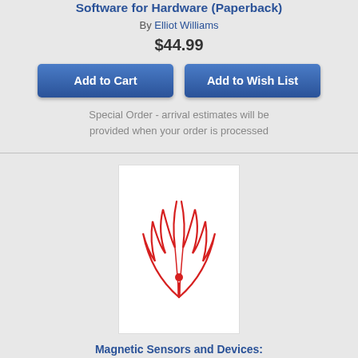Software for Hardware (Paperback)
By Elliot Williams
$44.99
Special Order - arrival estimates will be provided when your order is processed
[Figure (logo): Red line-art logo of a stylized figure/eagle with wings, holding an 'i', on white background — publisher logo]
Magnetic Sensors and Devices: Technologies and Applications (Paperback)
By Kirill Poletkin (Editor), Laurent A. Francis (Editor), Krzysztof Iniewski (Editor)
$90.38